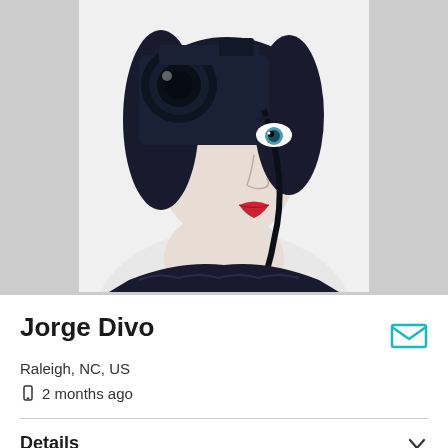[Figure (photo): Profile photo of a woman with dark hair holding a camera (Leica) up to her eye, wearing red lipstick and dark eye makeup, against a white background. She is wearing a dark lacy top with a camera strap.]
Jorge Divo
Raleigh, NC, US
2 months ago
Details